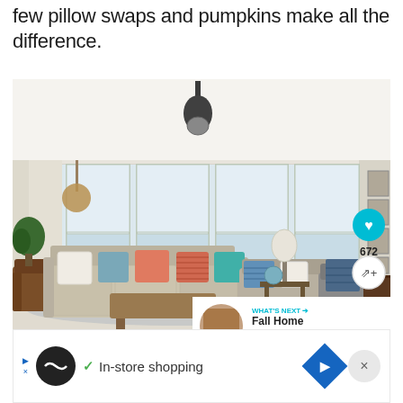few pillow swaps and pumpkins make all the difference.
[Figure (photo): Bright living room with large windows, beige sectional sofa with colorful pillows (coral, teal, blue, white), brown leather chair, gray accent chair, wood coffee table, ceiling fan, and overlaid UI elements including a heart button showing 672 likes, a share button, and a 'What's Next: Fall Home Tour...' banner.]
In-store shopping